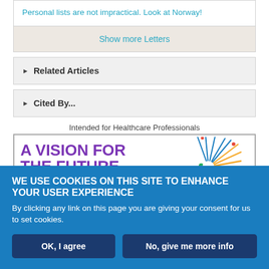Personal lists are not impractical. Look at Norway!
Show more Letters
Related Articles
Cited By...
Intended for Healthcare Professionals
[Figure (illustration): Advertisement banner reading 'A VISION FOR THE FUTURE OF GENERAL' in purple bold text with a colorful starburst graphic on the right]
WE USE COOKIES ON THIS SITE TO ENHANCE YOUR USER EXPERIENCE
By clicking any link on this page you are giving your consent for us to set cookies.
OK, I agree
No, give me more info